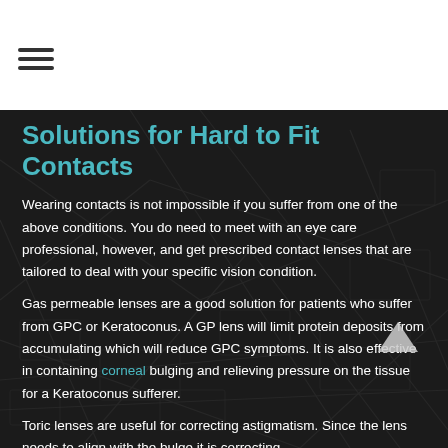≡
Solutions for Hard to Fit Contacts
Wearing contacts is not impossible if you suffer from one of the above conditions. You do need to meet with an eye care professional, however, and get prescribed contact lenses that are tailored to deal with your specific vision condition.
Gas permeable lenses are a good solution for patients who suffer from GPC or Keratoconus. A GP lens will limit protein deposits from accumulating which will reduce GPC symptoms. It is also effective in containing corneal bulging and relieving pressure on the tissue for a Keratoconus sufferer.
Toric lenses are useful for correcting astigmatism. Since the lens needs to align with the bulge it is correcting,